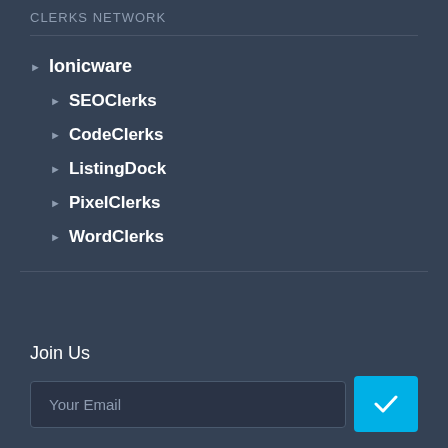CLERKS NETWORK
Ionicware
SEOClerks
CodeClerks
ListingDock
PixelClerks
WordClerks
Join Us
Your Email